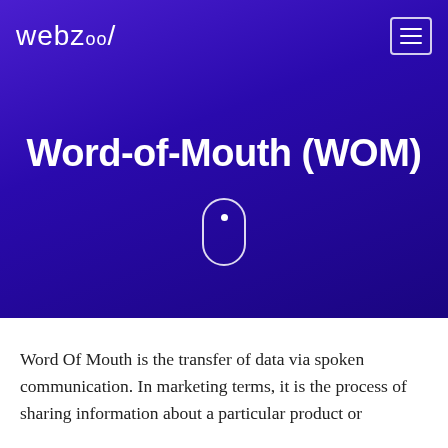[Figure (logo): webzool logo in white text on purple/blue gradient background]
Word-of-Mouth (WOM)
Word Of Mouth is the transfer of data via spoken communication. In marketing terms, it is the process of sharing information about a particular product or